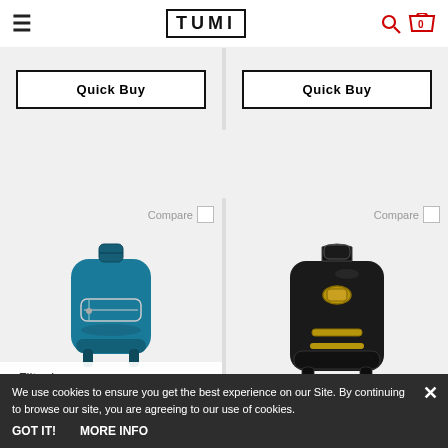TUMI — navigation header with hamburger menu, logo, search and cart (0)
Quick Buy | Quick Buy
[Figure (photo): Blue Tumi Harper Backpack on light grey background]
[Figure (photo): Black Tumi Hannah Backpack Womens with gold hardware on light grey background]
Compare | Compare
< Filter by
HARPER BACKPACK
TUMI HANNAH BACKPACK WOMENS
We use cookies to ensure you get the best experience on our Site. By continuing to browse our site, you are agreeing to our use of cookies.
GOT IT!   MORE INFO